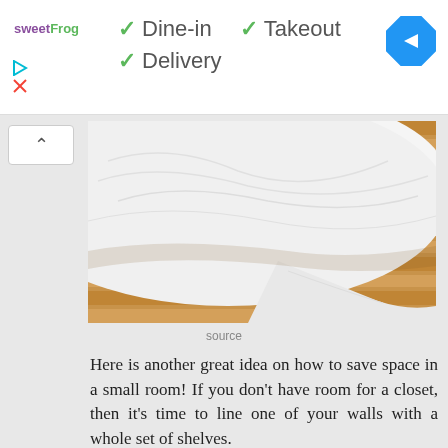[Figure (screenshot): Advertisement banner for sweetFrog restaurant showing Dine-in, Takeout, and Delivery options with green checkmarks, a navigation icon on the right]
[Figure (photo): Photo of white bedding/comforter on a wooden floor, partially visible from above]
source
Here is another great idea on how to save space in a small room! If you don't have room for a closet, then it's time to line one of your walls with a whole set of shelves.